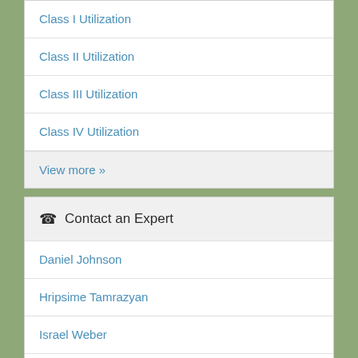Class I Utilization
Class II Utilization
Class III Utilization
Class IV Utilization
View more »
☎ Contact an Expert
Daniel Johnson
Hripsime Tamrazyan
Israel Weber
Janet Linder
Joshua McNeff
Kerry Siekmann